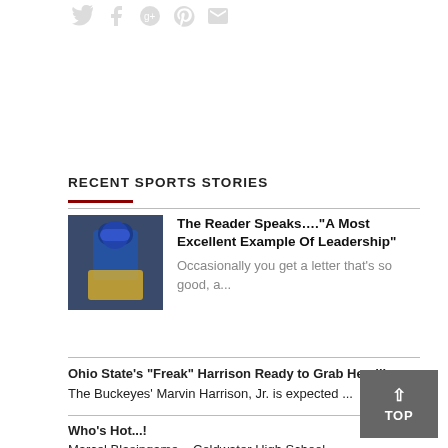[Figure (other): Social media icons: Twitter, Facebook, Google, Pinterest, Email — shown in grey at top]
RECENT SPORTS STORIES
[Figure (photo): Photo of a football coach wearing a blue jacket and blue beanie hat with headset]
The Reader Speaks…."A Most Excellent Example Of Leadership"
Occasionally you get a letter that's so good, a...
Ohio State's “Freak” Harrison Ready to Grab Headlines
The Buckeyes’ Marvin Harrison, Jr. is expected ...
Who's Hot...!
Marcel Blasingame – Coldwater High School....